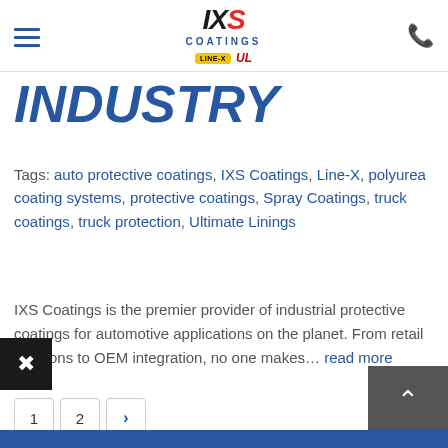IXS COATINGS (logo with LINE-X and UL badges)
INDUSTRY
Tags: auto protective coatings, IXS Coatings, Line-X, polyurea coating systems, protective coatings, Spray Coatings, truck coatings, truck protection, Ultimate Linings
IXS Coatings is the premier provider of industrial protective coatings for automotive applications on the planet. From retail locations to OEM integration, no one makes... read more
1
2
>